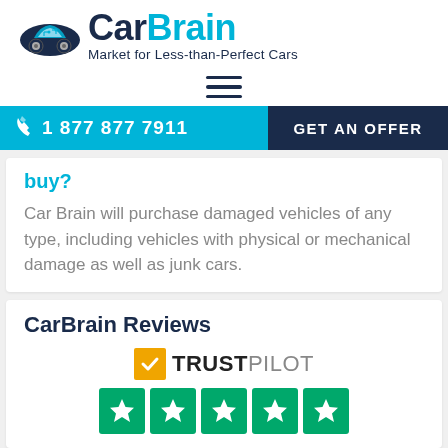[Figure (logo): CarBrain logo with car icon and tagline 'Market for Less-than-Perfect Cars']
[Figure (other): Hamburger menu icon with three horizontal lines]
[Figure (other): Navigation bar with phone number 1 877 877 7911 in cyan and GET AN OFFER button in dark navy]
buy?
Car Brain will purchase damaged vehicles of any type, including vehicles with physical or mechanical damage as well as junk cars.
CarBrain Reviews
[Figure (logo): Trustpilot logo with orange checkmark and 5 green star ratings]